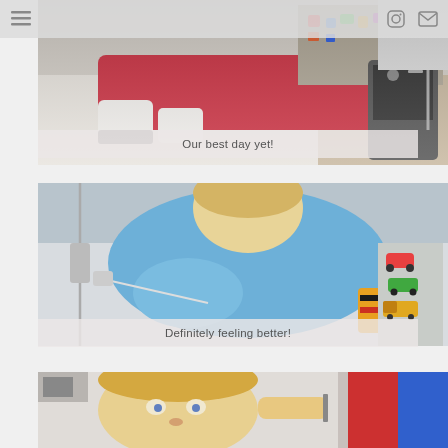menu | instagram | email
[Figure (photo): Child in hospital bed wearing red pants and white socks, with medical equipment and toys visible]
Our best day yet!
[Figure (photo): Young child in blue hospital gown with IV line, wearing colorful striped socks, toys visible in background]
Definitely feeling better!
[Figure (photo): Young child lying in hospital bed, partially visible, looking up]